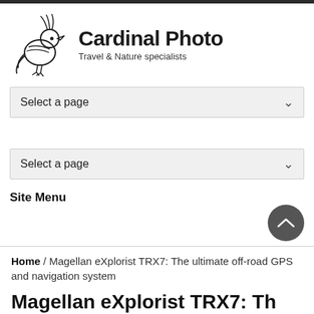[Figure (logo): Cardinal Photo logo - line drawing of a cardinal bird with text 'Cardinal Photo' and tagline 'Travel & Nature specialists']
[Figure (screenshot): Dropdown selector UI element labeled 'Select a page' with chevron arrow]
[Figure (screenshot): Second dropdown selector UI element labeled 'Select a page' with chevron arrow]
Site Menu
Home / Magellan eXplorist TRX7: The ultimate off-road GPS and navigation system
Magellan eXplorist TRX7: Th